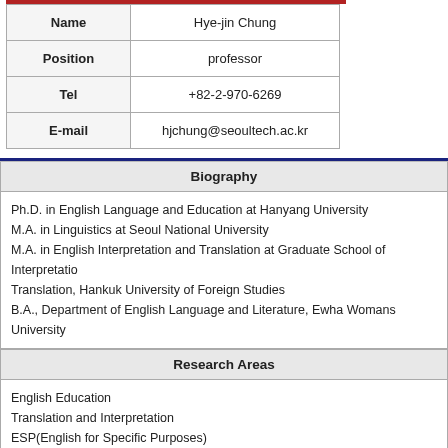| Field | Value |
| --- | --- |
| Name | Hye-jin Chung |
| Position | professor |
| Tel | +82-2-970-6269 |
| E-mail | hjchung@seoultech.ac.kr |
Biography
Ph.D. in English Language and Education at Hanyang University
M.A. in Linguistics at Seoul National University
M.A. in English Interpretation and Translation at Graduate School of Interpretation Translation, Hankuk University of Foreign Studies
B.A., Department of English Language and Literature, Ewha Womans University
Research Areas
English Education
Translation and Interpretation
ESP(English for Specific Purposes)
Selected Publications